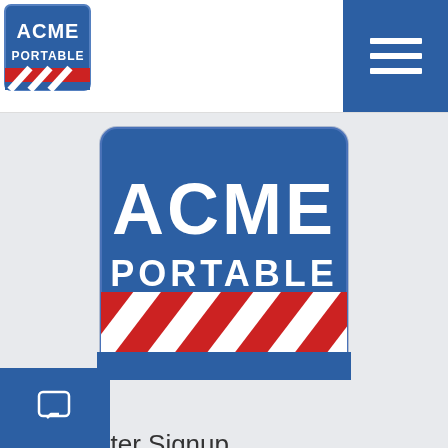[Figure (logo): Acme Portable logo in top-left navbar: blue square with ACME text above PORTABLE, red and white diagonal stripes below]
[Figure (logo): Hamburger menu icon (three white horizontal lines) on blue square background in top-right corner]
[Figure (logo): Large centered Acme Portable logo: blue rounded-corner square with ACME in large white letters, PORTABLE below, red and white diagonal stripes at the bottom]
Newsletter Signup
First Name
Last Name
Email
ow did you hear about us?